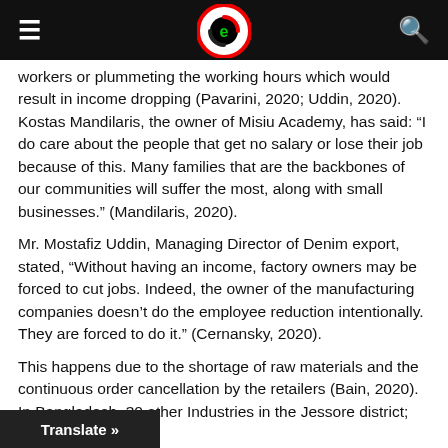e-magazine logo header with hamburger menu and search icon
workers or plummeting the working hours which would result in income dropping (Pavarini, 2020; Uddin, 2020). Kostas Mandilaris, the owner of Misiu Academy, has said: “I do care about the people that get no salary or lose their job because of this. Many families that are the backbones of our communities will suffer the most, along with small businesses.” (Mandilaris, 2020).
Mr. Mostafiz Uddin, Managing Director of Denim export, stated, “Without having an income, factory owners may be forced to cut jobs. Indeed, the owner of the manufacturing companies doesn’t do the employee reduction intentionally. They are forced to do it.” (Cernansky, 2020).
This happens due to the shortage of raw materials and the continuous order cancellation by the retailers (Bain, 2020). In Bangladesh, 30 Leather Industries in the Jessore district; and the … ries in Sayor… Raquf Apparels Washing